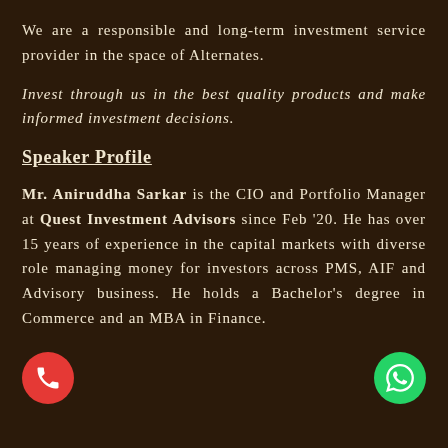We are a responsible and long-term investment service provider in the space of Alternates.
Invest through us in the best quality products and make informed investment decisions.
Speaker Profile
Mr. Aniruddha Sarkar is the CIO and Portfolio Manager at Quest Investment Advisors since Feb '20. He has over 15 years of experience in the capital markets with diverse role managing money for investors across PMS, AIF and Advisory business. He holds a Bachelor's degree in Commerce and an MBA in Finance.